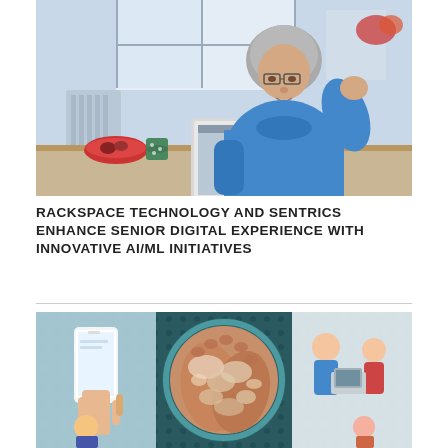[Figure (photo): Elderly woman with short gray hair and glasses wearing a blue hoodie, sitting at a kitchen table using a laptop computer. Kitchen background with red bowl and green mug visible.]
RACKSPACE TECHNOLOGY AND SENTRICS ENHANCE SENIOR DIGITAL EXPERIENCE WITH INNOVATIVE AI/ML INITIATIVES
[Figure (infographic): Medical/health infographic showing a collage of images including hands with a skin condition (psoriasis or similar) in a circular spotlight, a person holding a smartphone, a doctor/patient consultation scene, and a person at a computer. Teal/dark background with illustrated and photographic elements.]